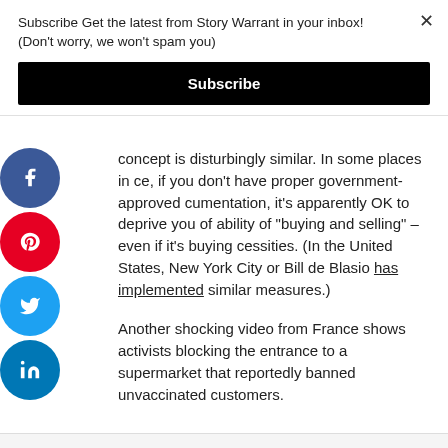Subscribe Get the latest from Story Warrant in your inbox! (Don't worry, we won't spam you)
Subscribe
concept is disturbingly similar. In some places in ce, if you don't have proper government-approved cumentation, it's apparently OK to deprive you of ability of "buying and selling" – even if it's buying cessities. (In the United States, New York City or Bill de Blasio has implemented similar measures.)
Another shocking video from France shows activists blocking the entrance to a supermarket that reportedly banned unvaccinated customers.